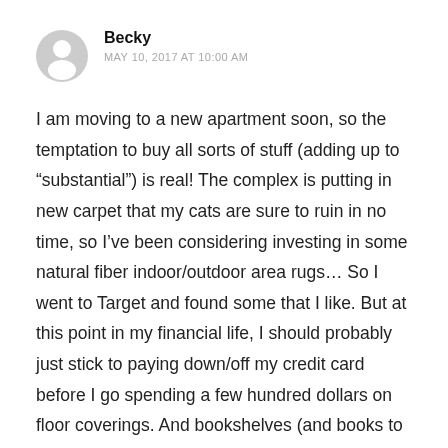[Figure (illustration): Circular avatar placeholder icon showing a generic user silhouette in gray]
Becky
MAY 10, 2017 AT 10:00 AM
I am moving to a new apartment soon, so the temptation to buy all sorts of stuff (adding up to “substantial”) is real! The complex is putting in new carpet that my cats are sure to ruin in no time, so I’ve been considering investing in some natural fiber indoor/outdoor area rugs… So I went to Target and found some that I like. But at this point in my financial life, I should probably just stick to paying down/off my credit card before I go spending a few hundred dollars on floor coverings. And bookshelves (and books to fill them), and new